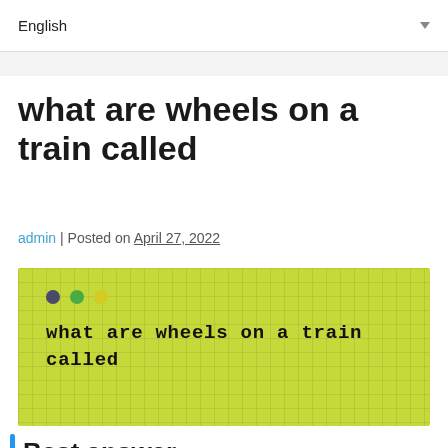English
what are wheels on a train called
admin | Posted on April 27, 2022
[Figure (screenshot): A green grid-background image with three colored dots (dark purple, green, yellow) and bold monospace text reading 'what are wheels on a train called']
Best answer